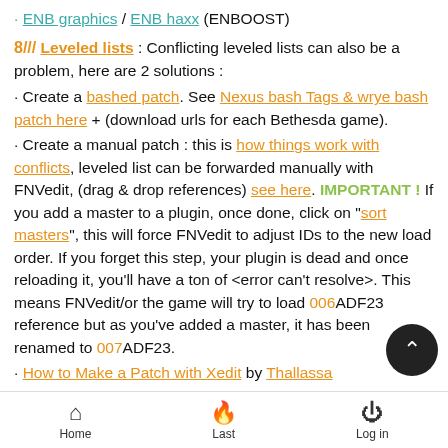ENB graphics / ENB haxx (ENBOOST)
8/// Leveled lists : Conflicting leveled lists can also be a problem, here are 2 solutions :
Create a bashed patch. See Nexus bash Tags & wrye bash patch here + (download urls for each Bethesda game).
Create a manual patch : this is how things work with conflicts, leveled list can be forwarded manually with FNVedit, (drag & drop references) see here. IMPORTANT ! If you add a master to a plugin, once done, click on "sort masters", this will force FNVedit to adjust IDs to the new load order. If you forget this step, your plugin is dead and once reloading it, you'll have a ton of <error can't resolve>. This means FNVedit/or the game will try to load 006ADF23 reference but as you've added a master, it has been renamed to 007ADF23.
How to Make a Patch with Xedit by Thallassa
Mator the eternal's video fixing errors with xEdit.
How to cancel modifications with xedit : do not save and close
Home   Last   Log in